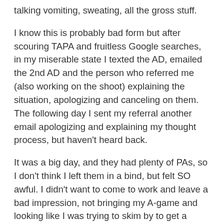talking vomiting, sweating, all the gross stuff.
I know this is probably bad form but after scouring TAPA and fruitless Google searches, in my miserable state I texted the AD, emailed the 2nd AD and the person who referred me (also working on the shoot) explaining the situation, apologizing and canceling on them. The following day I sent my referral another email apologizing and explaining my thought process, but haven't heard back.
It was a big day, and they had plenty of PAs, so I don't think I left them in a bind, but felt SO awful. I didn't want to come to work and leave a bad impression, not bringing my A-game and looking like I was trying to skim by to get a paycheck and honestly, not earn that paycheck. I am immensely concerned with making good impressions in the work place and want to know two things: 1) Did I